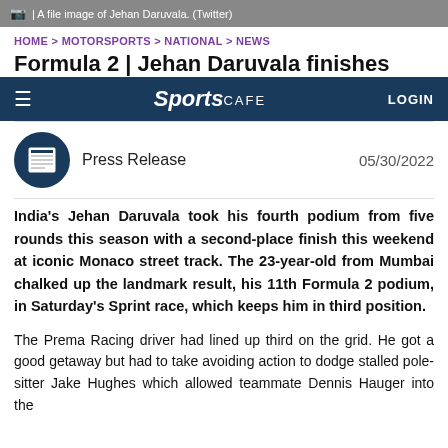📷 | A file image of Jehan Daruvala. (Twitter)
HOME > MOTORSPORTS > NATIONAL > NEWS
Formula 2 | Jehan Daruvala finishes
Sports CAFE  LOGIN
Press Release  05/30/2022
India's Jehan Daruvala took his fourth podium from five rounds this season with a second-place finish this weekend at iconic Monaco street track. The 23-year-old from Mumbai chalked up the landmark result, his 11th Formula 2 podium, in Saturday's Sprint race, which keeps him in third position.
The Prema Racing driver had lined up third on the grid. He got a good getaway but had to take avoiding action to dodge stalled pole-sitter Jake Hughes which allowed teammate Dennis Hauger into the